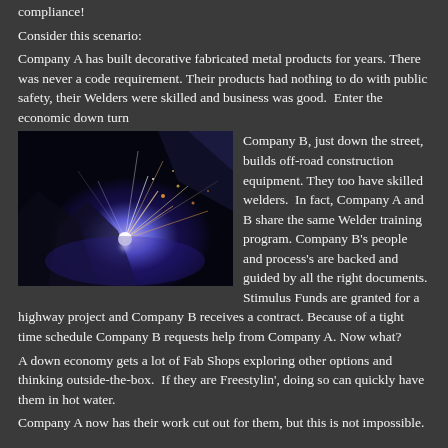compliance!
Consider this scenario:
Company A has built decorative fabricated metal products for years. There was never a code requirement. Their products had nothing to do with public safety, their Welders were skilled and business was good.  Enter the economic down turn
[Figure (photo): A welder at work with bright sparks and arc light visible against a dark background]
Company B, just down the street, builds off-road construction equipment. They too have skilled welders.  In fact, Company A and B share the same Welder training program. Company B's people and process's are backed and guided by all the right documents. Stimulus Funds are granted for a highway project and Company B receives a contract. Because of a tight time schedule Company B requests help from Company A. Now what?
A down economy gets a lot of Fab Shops exploring other options and thinking outside-the-box.  If they are Freestylin', doing so can quickly have them in hot water.
Company A now has their work cut out for them, but this is not impossible.